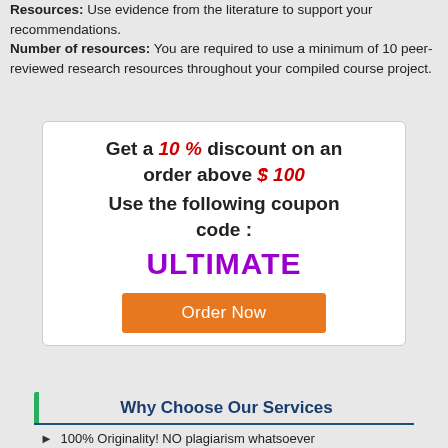Resources: Use evidence from the literature to support your recommendations.
Number of resources: You are required to use a minimum of 10 peer-reviewed research resources throughout your compiled course project.
[Figure (infographic): Promotional box offering 10% discount on orders above $100, coupon code ULTIMATE, with an orange Order Now button]
Why Choose Our Services
100% Originality! NO plagiarism whatsoever